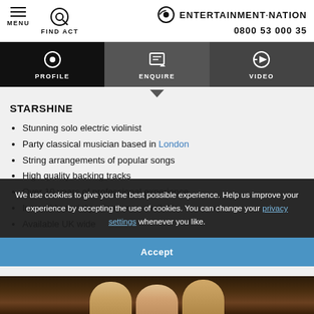MENU  FIND ACT  ENTERTAINMENT·NATION  0800 53 000 35
[Figure (screenshot): Navigation tabs: PROFILE (black), ENQUIRE (dark grey), VIDEO (dark grey) with icons]
STARSHINE
Stunning solo electric violinist
Party classical musician based in London
String arrangements of popular songs
High quality backing tracks
Over 10 years of professional experience
Incredible aerial performance available
Available UK wide
[Figure (photo): Photo strip at bottom showing performers in a venue]
We use cookies to give you the best possible experience. Help us improve your experience by accepting the use of cookies. You can change your privacy settings whenever you like.
Accept